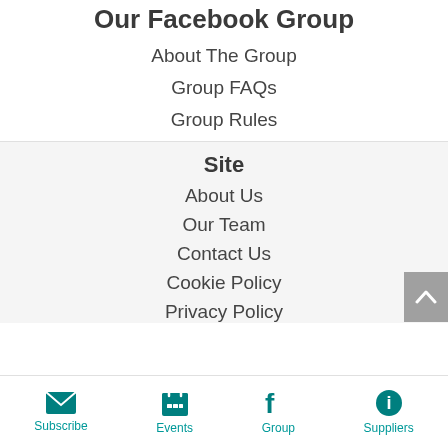Our Facebook Group
About The Group
Group FAQs
Group Rules
Site
About Us
Our Team
Contact Us
Cookie Policy
Privacy Policy
Subscribe   Events   Group   Suppliers